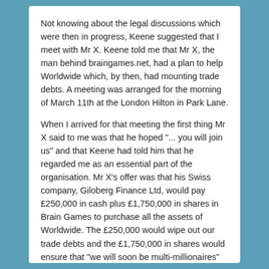Not knowing about the legal discussions which were then in progress, Keene suggested that I meet with Mr X. Keene told me that Mr X, the man behind braingames.net, had a plan to help Worldwide which, by then, had mounting trade debts. A meeting was arranged for the morning of March 11th at the London Hilton in Park Lane.
When I arrived for that meeting the first thing Mr X said to me was that he hoped "... you will join us" and that Keene had told him that he regarded me as an essential part of the organisation. Mr X's offer was that his Swiss company, Giloberg Finance Ltd, would pay £250,000 in cash plus £1,750,000 in shares in Brain Games to purchase all the assets of Worldwide. The £250,000 would wipe out our trade debts and the £1,750,000 in shares would ensure that "we will soon be multi-millionaires" (Keene's words). I would be given stock options. I would be retained on a salary. I would be put in